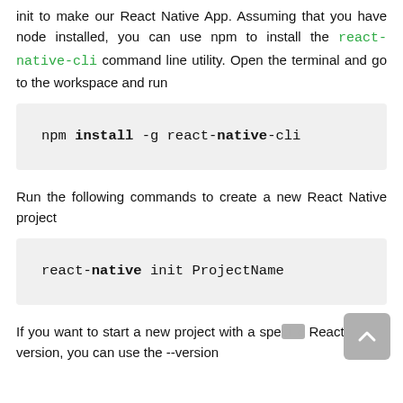init to make our React Native App. Assuming that you have node installed, you can use npm to install the react-native-cli command line utility. Open the terminal and go to the workspace and run
npm install -g react-native-cli
Run the following commands to create a new React Native project
react-native init ProjectName
If you want to start a new project with a specific React Native version, you can use the --version